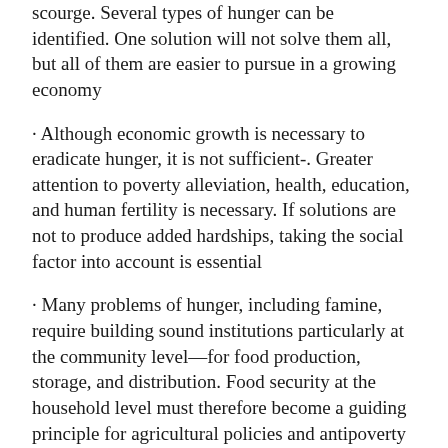scourge. Several types of hunger can be identified. One solution will not solve them all, but all of them are easier to pursue in a growing economy
· Although economic growth is necessary to eradicate hunger, it is not sufficient-. Greater attention to poverty alleviation, health, education, and human fertility is necessary. If solutions are not to produce added hardships, taking the social factor into account is essential
· Many problems of hunger, including famine, require building sound institutions particularly at the community level—for food production, storage, and distribution. Food security at the household level must therefore become a guiding principle for agricultural policies and antipoverty programs
· Action must be taken in good time